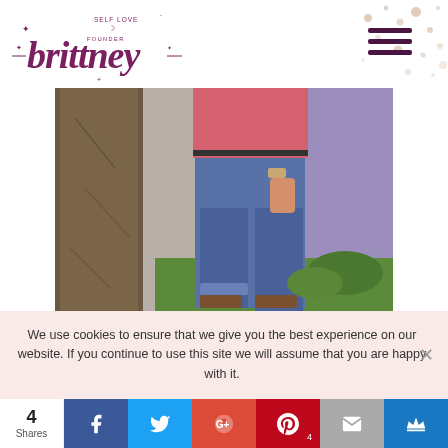[Figure (logo): Brittney Self Love brand cursive logo in dark purple/maroon with decorative stars and moon]
[Figure (photo): Person wearing pink top and rolled-up jeans standing next to a tree, with purple/lavender flowers in background and green grass]
We use cookies to ensure that we give you the best experience on our website. If you continue to use this site we will assume that you are happy with it.
[Figure (infographic): Social share bar showing 4 Shares, with buttons for Facebook, Twitter, Google+, Pinterest (4), Email, and crown/bookmark]